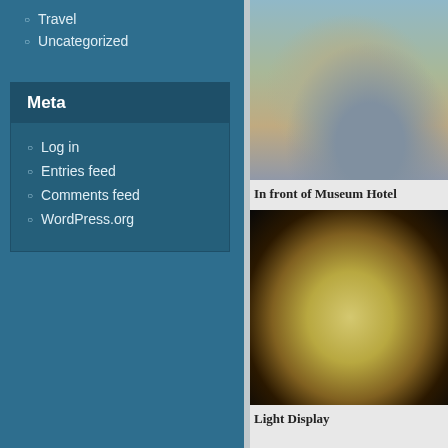Travel
Uncategorized
Meta
Log in
Entries feed
Comments feed
WordPress.org
[Figure (photo): Man standing in front of Museum Hotel next to a vintage brown station wagon on a sunny day]
In front of Museum Hotel
[Figure (photo): Light display sculpture with golden/yellow wispy glass tendrils illuminated against a dark night background]
Light Display